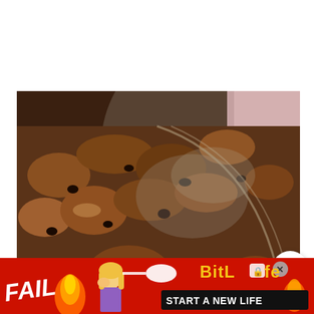[Figure (photo): Close-up photo of a cooked dish with crumbled meat, raisins, and spices in a dark pan or plate, with a pink cloth visible in the upper right corner. UI overlay buttons visible: upvote arrow with count 74, heart/favorite button, and purple search button.]
[Figure (photo): Advertisement banner at the bottom: red background with 'FAIL' text, cartoon blonde woman, flame graphics, and 'BitLife - START A NEW LIFE' text with lock and X icons.]